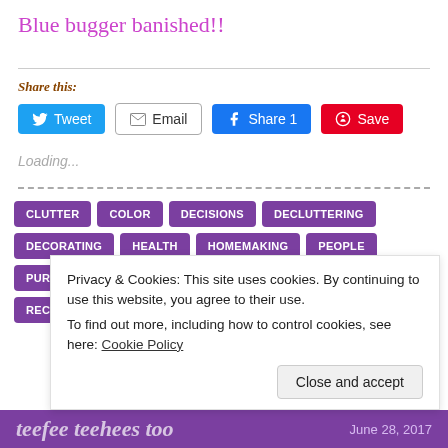Blue bugger banished!!
Share this:
[Figure (other): Social share buttons: Tweet, Email, Share 1, Save]
Loading...
CLUTTER
COLOR
DECISIONS
DECLUTTERING
DECORATING
HEALTH
HOMEMAKING
PEOPLE
PURGE
PURPLESLOBINRECOVERY
REAL LIFE
RECOVERY
Privacy & Cookies: This site uses cookies. By continuing to use this website, you agree to their use.
To find out more, including how to control cookies, see here: Cookie Policy
teefee teehees too   June 28, 2017